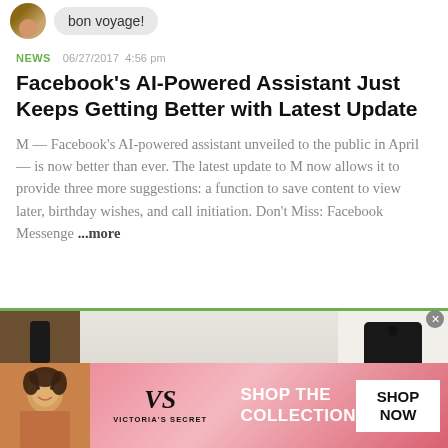[Figure (photo): User avatar (circular photo of a person) with a 'bon voyage!' speech bubble]
NEWS   06/27/2017 4:56 pm
Facebook's AI-Powered Assistant Just Keeps Getting Better with Latest Update
M — Facebook's AI-powered assistant unveiled to the public in April — is now better than ever. The latest update to M now allows it to provide three more suggestions: a function to save content to view later, birthday wishes, and call initiation. Don't Miss: Facebook Messenge ...more
[Figure (photo): Header image showing a smart speaker device on a wooden surface, a white carafe/pitcher, and a black mug on the right side]
HOW TO   11/03/2016 7:28 pm
20 Google Home Easter Eggs & Fun Commands
[Figure (photo): Victoria's Secret advertisement banner with a model on a pink gradient background, VS logo, 'SHOP THE COLLECTION' text, and 'SHOP NOW' button]